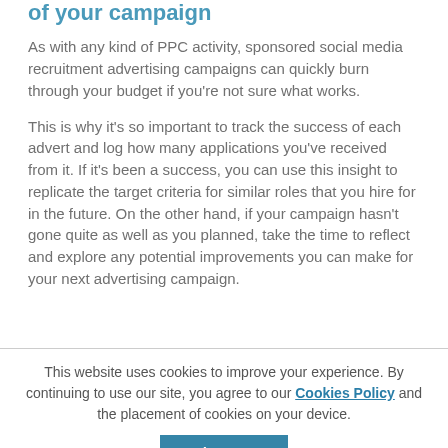of your campaign
As with any kind of PPC activity, sponsored social media recruitment advertising campaigns can quickly burn through your budget if you're not sure what works.
This is why it's so important to track the success of each advert and log how many applications you've received from it. If it's been a success, you can use this insight to replicate the target criteria for similar roles that you hire for in the future. On the other hand, if your campaign hasn't gone quite as well as you planned, take the time to reflect and explore any potential improvements you can make for your next advertising campaign.
This website uses cookies to improve your experience. By continuing to use our site, you agree to our Cookies Policy and the placement of cookies on your device.
Accept